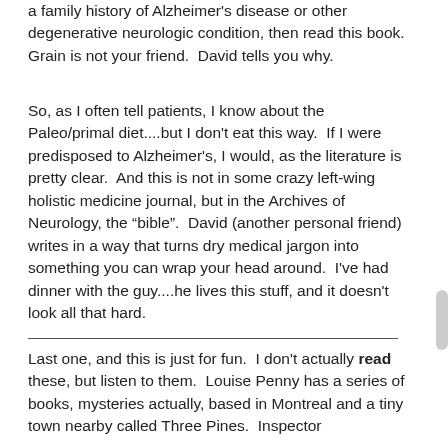a family history of Alzheimer's disease or other degenerative neurologic condition, then read this book.  Grain is not your friend.  David tells you why.
So, as I often tell patients, I know about the Paleo/primal diet....but I don't eat this way.  If I were predisposed to Alzheimer's, I would, as the literature is pretty clear.  And this is not in some crazy left-wing holistic medicine journal, but in the Archives of Neurology, the “bible”.  David (another personal friend) writes in a way that turns dry medical jargon into something you can wrap your head around.  I've had dinner with the guy....he lives this stuff, and it doesn't look all that hard.
Last one, and this is just for fun.  I don't actually read these, but listen to them.  Louise Penny has a series of books, mysteries actually, based in Montreal and a tiny town nearby called Three Pines.  Inspector